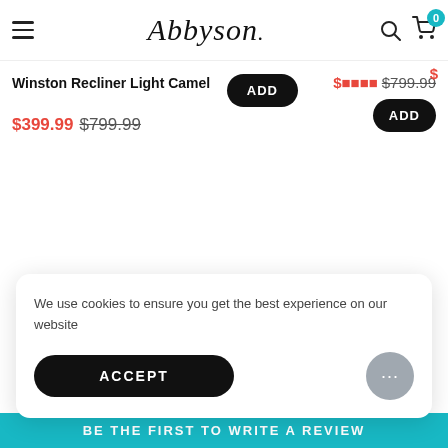Abbyson — navigation header with hamburger menu, logo, search and cart icons (cart badge: 0)
Winston Re[cliner] [Lig]ht Camel
$399.99 $799.99
ADD
$[sale] $799.99 (right product)
ADD (right product)
We use cookies to ensure you get the best experience on our website
ACCEPT
BE THE FIRST TO WRITE A REVIEW